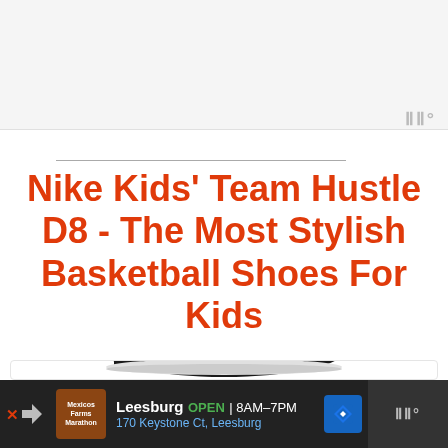[Figure (other): Top advertisement banner area, light gray background with 'IIII°' watermark icon at bottom right]
Nike Kids' Team Hustle D8 - The Most Stylish Basketball Shoes For Kids
[Figure (photo): Product photo of Nike Kids' Team Hustle D8 basketball shoe in black and white colorway, shown on white background with heart and share action buttons on the right side]
[Figure (other): Bottom advertisement banner: Leesburg OPEN 8AM-7PM, 170 Keystone Ct, Leesburg with navigation icon and IIII° watermark]